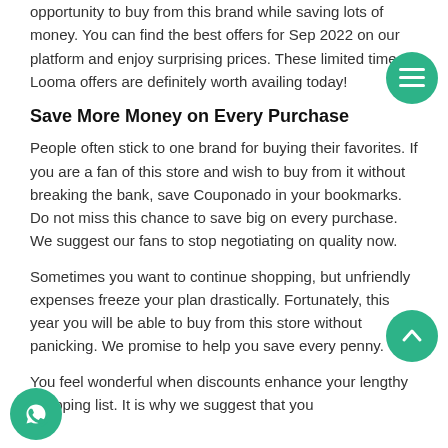opportunity to buy from this brand while saving lots of money. You can find the best offers for Sep 2022 on our platform and enjoy surprising prices. These limited time Looma offers are definitely worth availing today!
Save More Money on Every Purchase
People often stick to one brand for buying their favorites. If you are a fan of this store and wish to buy from it without breaking the bank, save Couponado in your bookmarks. Do not miss this chance to save big on every purchase. We suggest our fans to stop negotiating on quality now.
Sometimes you want to continue shopping, but unfriendly expenses freeze your plan drastically. Fortunately, this year you will be able to buy from this store without panicking. We promise to help you save every penny.
You feel wonderful when discounts enhance your lengthy shopping list. It is why we suggest that you